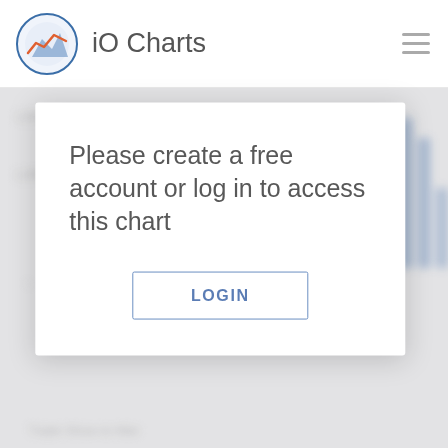iO Charts
[Figure (screenshot): Blurred background chart area showing a bar chart with some y-axis labels and x-axis labels, partially visible behind a login modal overlay.]
Please create a free account or log in to access this chart
LOGIN